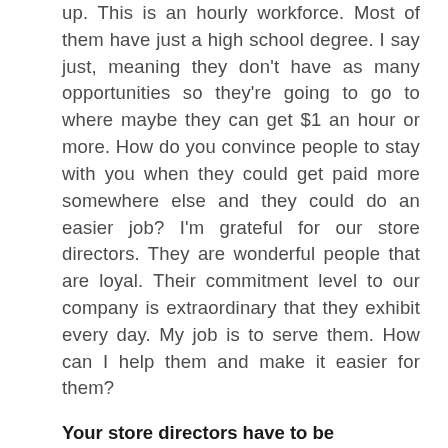up. This is an hourly workforce. Most of them have just a high school degree. I say just, meaning they don't have as many opportunities so they're going to go to where maybe they can get $1 an hour or more. How do you convince people to stay with you when they could get paid more somewhere else and they could do an easier job? I'm grateful for our store directors. They are wonderful people that are loyal. Their commitment level to our company is extraordinary that they exhibit every day. My job is to serve them. How can I help them and make it easier for them?
Your store directors have to be persuasive as well in order to get those associates to agree to the jobs to be to us so once you could